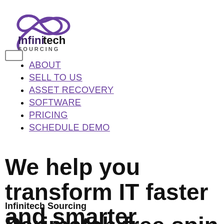[Figure (logo): Infinitech Sourcing logo with infinity symbol in purple and text 'Infinitech SOURCING TECHNOLOGY ASSET PARTNERS']
ABOUT
SELL TO US
ASSET RECOVERY
SOFTWARE
PRICING
SCHEDULE DEMO
We help you transform IT faster and smarter
Infinitech Sourcing
Parimatch free spin : Best